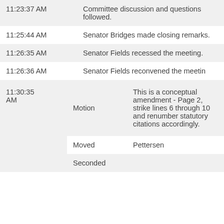| Time | Description |
| --- | --- |
| 11:23:37 AM | Committee discussion and questions followed. |
| 11:25:44 AM | Senator Bridges made closing remarks. |
| 11:26:35 AM | Senator Fields recessed the meeting. |
| 11:26:36 AM | Senator Fields reconvened the meeting |
| 11:30:35 AM | Motion | This is a conceptual amendment - Page 2, strike lines 6 through 10 and renumber statutory citations accordingly. |
|  | Moved | Pettersen |
|  | Seconded |  |